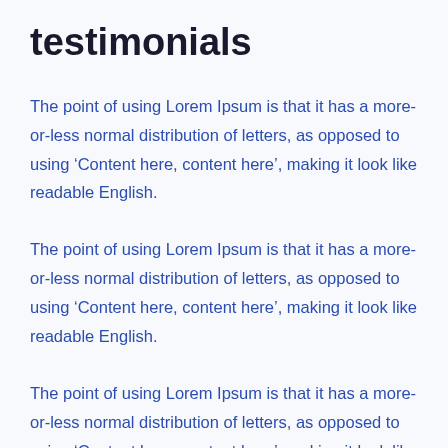testimonials
The point of using Lorem Ipsum is that it has a more-or-less normal distribution of letters, as opposed to using ‘Content here, content here’, making it look like readable English.
The point of using Lorem Ipsum is that it has a more-or-less normal distribution of letters, as opposed to using ‘Content here, content here’, making it look like readable English.
The point of using Lorem Ipsum is that it has a more-or-less normal distribution of letters, as opposed to using ‘Content here, content here’, making it look like readable English.